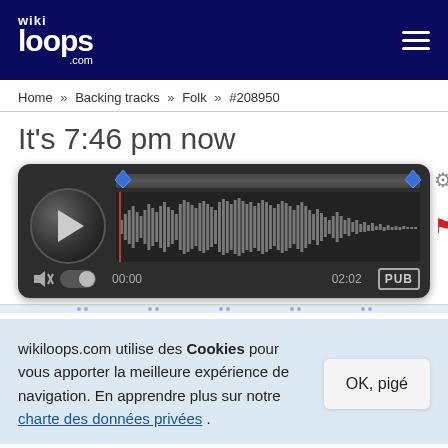[Figure (logo): wikiloops.com logo — white text on dark navy background with hamburger menu icon]
Home » Backing tracks » Folk » #208950
It's 7:46 pm now
[Figure (screenshot): Audio player widget with waveform, play button, scrubber, time markers 00:00 and 02:02, mute icon, toggle switch, PUB badge, gear icon, and red flag marker]
wikiloops.com utilise des Cookies pour vous apporter la meilleure expérience de navigation. En apprendre plus sur notre charte des données privées .